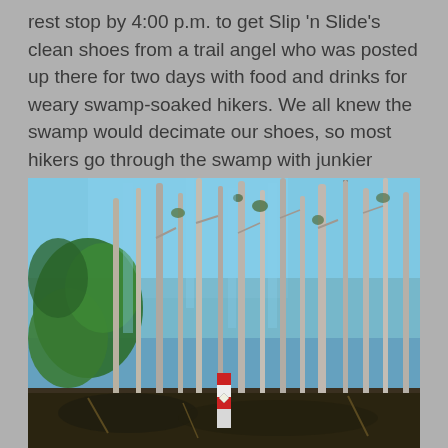rest stop by 4:00 p.m. to get Slip 'n Slide's clean shoes from a trail angel who was posted up there for two days with food and drinks for weary swamp-soaked hikers. We all knew the swamp would decimate our shoes, so most hikers go through the swamp with junkier shoes, and either pack their good shoes, or send them ahead.
[Figure (photo): A swampy forest scene with tall, bare cypress trees and bright blue sky visible through the canopy. A green leafy tree is on the left. A trail marker post with red and white stripes is visible at the base of the trees in the center-bottom of the image.]